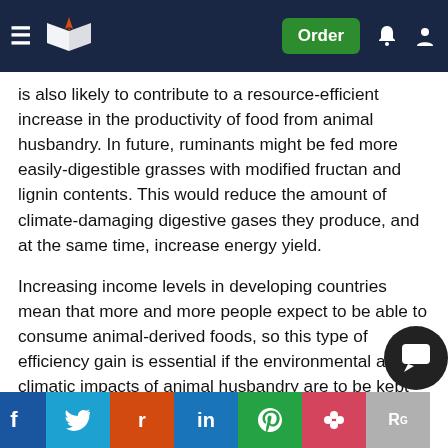Navigation bar with logo, Order button, and icons
is also likely to contribute to a resource-efficient increase in the productivity of food from animal husbandry. In future, ruminants might be fed more easily-digestible grasses with modified fructan and lignin contents. This would reduce the amount of climate-damaging digestive gases they produce, and at the same time, increase energy yield.
Increasing income levels in developing countries mean that more and more people expect to be able to consume animal-derived foods, so this type of efficiency gain is essential if the environmental and climatic impacts of animal husbandry are to be kept under control. The twin pressures of climate change and dwindling fossil energy resources will propel agriculture to the forefront in supplying the world's population with renewable energy and sustainable food. Forecasts indicate that between 20 and 50 percent of the agricultural